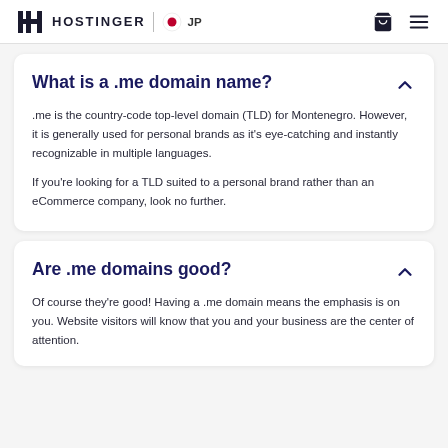HOSTINGER | JP
What is a .me domain name?
.me is the country-code top-level domain (TLD) for Montenegro. However, it is generally used for personal brands as it's eye-catching and instantly recognizable in multiple languages.
If you're looking for a TLD suited to a personal brand rather than an eCommerce company, look no further.
Are .me domains good?
Of course they're good! Having a .me domain means the emphasis is on you. Website visitors will know that you and your business are the center of attention.